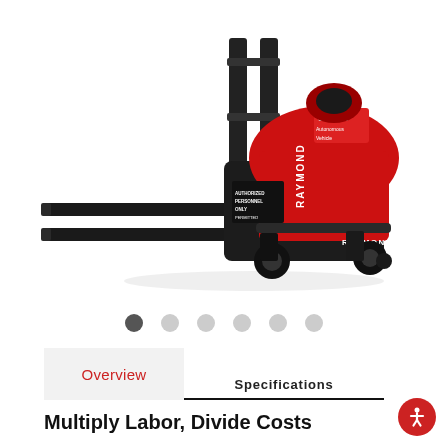[Figure (photo): Red and black Raymond Courier automated pallet truck / forklift vehicle, viewed from front-left angle, on white background.]
Carousel navigation dots: 1 active (dark), 5 inactive (light gray)
Overview | Specifications
Multiply Labor, Divide Costs
Maximize workforce productivity and drive down costs of repeatable horizontal transport tasks with the Raymond Courier automated pallet truck. With labor accounting for